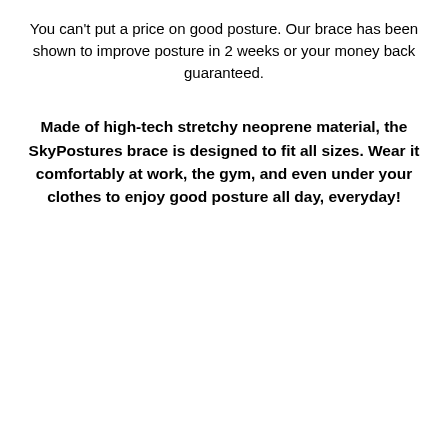You can't put a price on good posture. Our brace has been shown to improve posture in 2 weeks or your money back guaranteed.
Made of high-tech stretchy neoprene material, the SkyPostures brace is designed to fit all sizes. Wear it comfortably at work, the gym, and even under your clothes to enjoy good posture all day, everyday!